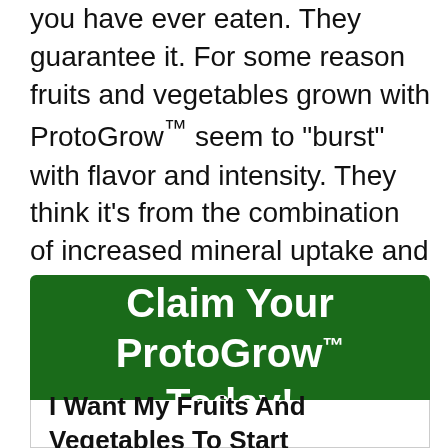you have ever eaten. They guarantee it. For some reason fruits and vegetables grown with ProtoGrow™ seem to "burst" with flavor and intensity. They think it's from the combination of increased mineral uptake and the increased "good sugar" content.
Claim Your ProtoGrow™ Today!
I Want My Fruits And Vegetables To Start